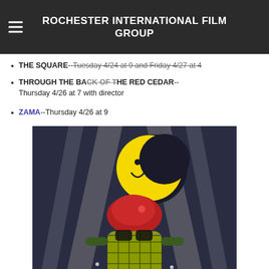ROCHESTER INTERNATIONAL FILM GROUP
THE SQUARE--Tuesday 4/24 at 9 and Friday 4/27 at 4
THROUGH THE BACK OF THE RED CEDAR--Thursday 4/26 at 7 with director
ZAMA--Thursday 4/26 at 9
[Figure (illustration): Stylized illustration of a character with a yellow crescent moon smiling, a red hat/head, yellow-green grid patterned body, wearing sunglasses, with searchlight beams in the background on a dark blue/grey night scene.]